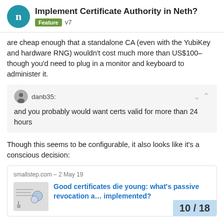Implement Certificate Authority in Neth?
are cheap enough that a standalone CA (even with the YubiKey and hardware RNG) wouldn't cost much more than US$100–though you'd need to plug in a monitor and keyboard to administer it.
danb35:
and you probably would want certs valid for more than 24 hours
Though this seems to be configurable, it also looks like it's a conscious decision:
smallstep.com – 2 May 19
Good certificates die young: what's passive revocation a… implemented?
10 / 18